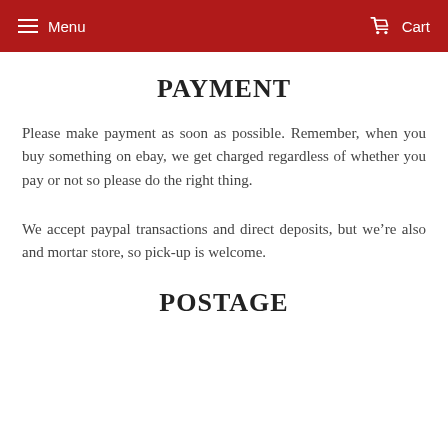Menu   Cart
PAYMENT
Please make payment as soon as possible. Remember, when you buy something on ebay, we get charged regardless of whether you pay or not so please do the right thing.
We accept paypal transactions and direct deposits, but we're also and mortar store, so pick-up is welcome.
POSTAGE